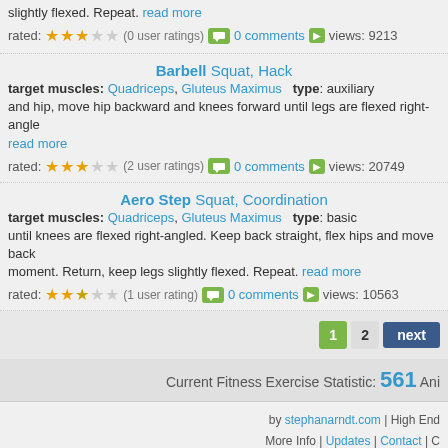slightly flexed. Repeat. read more
rated: ★★★☆☆ (0 user ratings) 0 comments views: 9213
Barbell Squat, Hack
target muscles: Quadriceps, Gluteus Maximus   type: auxiliary
and hip, move hip backward and knees forward until legs are flexed right-angle read more
rated: ★★★☆☆ (2 user ratings) 0 comments views: 20749
Aero Step Squat, Coordination
target muscles: Quadriceps, Gluteus Maximus   type: basic
until knees are flexed right-angled. Keep back straight, flex hips and move back moment. Return, keep legs slightly flexed. Repeat. read more
rated: ★★☆☆☆ (1 user rating) 0 comments views: 10563
1 2 next
Current Fitness Exercise Statistic: 561 Ani
by stephanarndt.com | High End More Info | Updates | Contact | C Help | Help